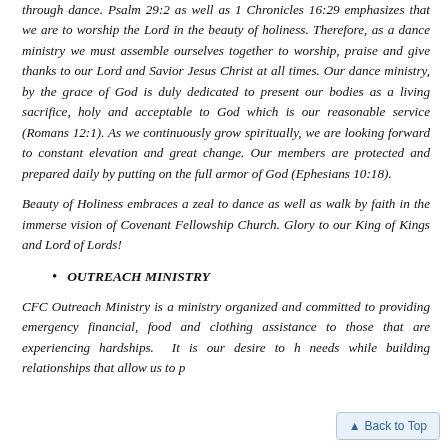through dance. Psalm 29:2 as well as 1 Chronicles 16:29 emphasizes that we are to worship the Lord in the beauty of holiness. Therefore, as a dance ministry we must assemble ourselves together to worship, praise and give thanks to our Lord and Savior Jesus Christ at all times. Our dance ministry, by the grace of God is duly dedicated to present our bodies as a living sacrifice, holy and acceptable to God which is our reasonable service (Romans 12:1). As we continuously grow spiritually, we are looking forward to constant elevation and great change. Our members are protected and prepared daily by putting on the full armor of God (Ephesians 10:18).
Beauty of Holiness embraces a zeal to dance as well as walk by faith in the immerse vision of Covenant Fellowship Church. Glory to our King of Kings and Lord of Lords!
OUTREACH MINISTRY
CFC Outreach Ministry is a ministry organized and committed to providing emergency financial, food and clothing assistance to those that are experiencing hardships. It is our desire to h needs while building relationships that allow us to p